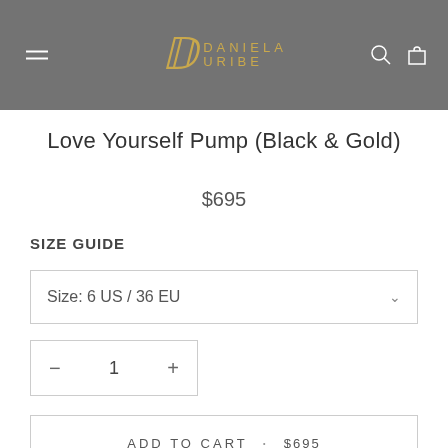Daniela Uribe — navigation header with logo, menu, search, and cart icons
Love Yourself Pump (Black & Gold)
$695
SIZE GUIDE
Size: 6 US / 36 EU
− 1 +
ADD TO CART · $695